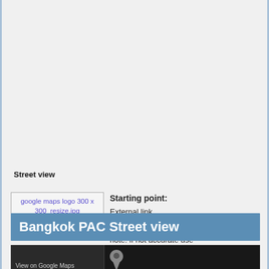Street view
[Figure (other): google maps logo 300 x 300_resize.jpg placeholder image]
Starting point: External link https://goo.gl/maps/AeMqAieCY8N2

note: if not accurate use
Maha Chetsadabodin Royal Pavilion: Google Map - Pics - Reviews
Bangkok PAC Street view
[Figure (screenshot): Google Maps street view screenshot showing dark map view with 'View on Google Maps' label and a map pin marker]